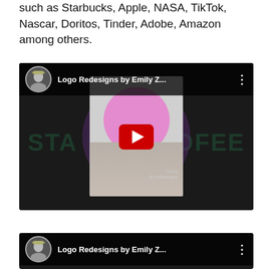such as Starbucks, Apple, NASA, TikTok, Nascar, Doritos, Tinder, Adobe, Amazon among others.
[Figure (screenshot): YouTube embedded video titled 'Logo Redesigns by Emily Z...' showing a TikTok video thumbnail with Starbucks logo redesign. Features a profile avatar, video title, three-dot menu, and a red play button overlay on a dark background showing 'STA' and 'OFEE' text from a Starbucks redesign.]
[Figure (screenshot): Partial YouTube embedded video (same as above) titled 'Logo Redesigns by Emily Z...' — showing only the top bar with avatar and title, partially cut off at bottom of page.]